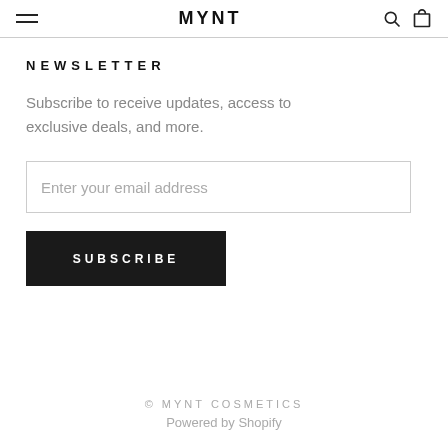MYNT
NEWSLETTER
Subscribe to receive updates, access to exclusive deals, and more.
Enter your email address
SUBSCRIBE
© MYNT COSMETICS
Powered by Shopify